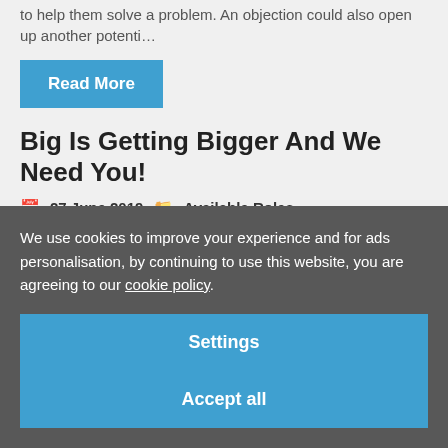to help them solve a problem. An objection could also open up another potenti…
Read More
Big Is Getting Bigger And We Need You!
27 June 2019   Available Roles
We use cookies to improve your experience and for ads personalisation, by continuing to use this website, you are agreeing to our cookie policy.
Settings
Accept all